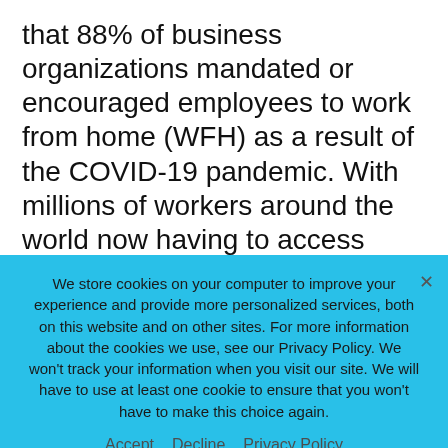that 88% of business organizations mandated or encouraged employees to work from home (WFH) as a result of the COVID-19 pandemic. With millions of workers around the world now having to access their organization's data remotely, data protection was put under increased pressure.

For many, the answer was to employ a strong password – oftentimes, requesting that
We store cookies on your computer to improve your experience and provide more personalized services, both on this website and on other sites. For more information about the cookies we use, see our Privacy Policy. We won't track your information when you visit our site. We will have to use at least one cookie to ensure that you won't have to make this choice again.

Accept   Decline   Privacy Policy